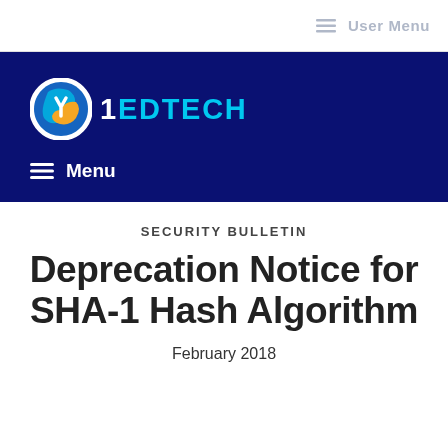≡ User Menu
[Figure (logo): 1EdTech logo: globe icon with blue and orange coloring, followed by '1EDTECH' wordmark in white and cyan on dark blue background, with hamburger Menu below]
SECURITY BULLETIN
Deprecation Notice for SHA-1 Hash Algorithm
February 2018